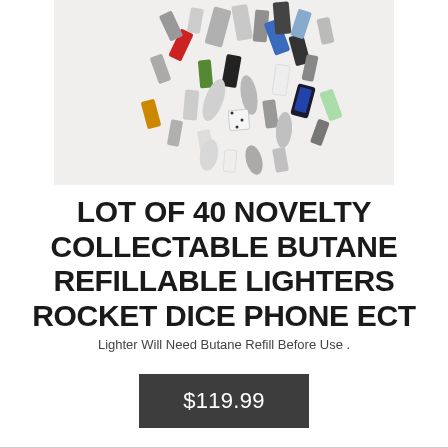[Figure (photo): A collection of approximately 40 novelty collectable butane refillable lighters in various shapes including rockets, dice, and phone designs, scattered on a white surface. Lighters vary in color: silver, chrome, blue, green, red, black, white.]
LOT OF 40 NOVELTY COLLECTABLE BUTANE REFILLABLE LIGHTERS ROCKET DICE PHONE ECT
Lighter Will Need Butane Refill Before Use .
$119.99